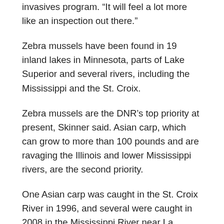invasives program. “It will feel a lot more like an inspection out there.”
Zebra mussels have been found in 19 inland lakes in Minnesota, parts of Lake Superior and several rivers, including the Mississippi and the St. Croix.
Zebra mussels are the DNR’s top priority at present, Skinner said. Asian carp, which can grow to more than 100 pounds and are ravaging the Illinois and lower Mississippi rivers, are the second priority.
One Asian carp was caught in the St. Croix River in 1996, and several were caught in 2008 in the Mississippi River near La Crosse. Skinner said DNR experts think there are not yet any reproducing Asian carp populations in